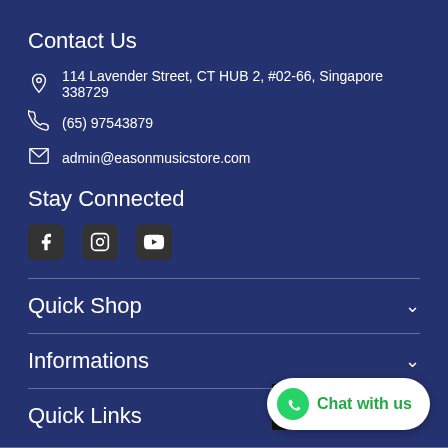Contact Us
114 Lavender Street, CT HUB 2, #02-66, Singapore 338729
(65) 97543879
admin@easonmusicstore.com
Stay Connected
[Figure (illustration): Social media icons: Facebook, Instagram, YouTube]
Quick Shop
Informations
Quick Links
[Figure (illustration): WhatsApp Chat with us button and scroll to top button]